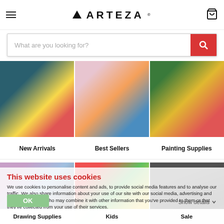ARTEZA - navigation header with hamburger menu and cart icon
What are you looking for?
[Figure (photo): Art supplies product image for New Arrivals category]
[Figure (photo): Art supplies product image for Best Sellers category]
[Figure (photo): Art supplies product image for Painting Supplies category]
New Arrivals
Best Sellers
Painting Supplies
[Figure (photo): Art supplies product image for Drawing Supplies category]
[Figure (photo): Art supplies product image for Kids category]
[Figure (photo): Art supplies product image for Sale category]
This website uses cookies
We use cookies to personalise content and ads, to provide social media features and to analyse our traffic. We also share information about your use of our site with our social media, advertising and analytics partners who may combine it with other information that you've provided to them or that they've collected from your use of their services.
OK
Show details
Drawing Supplies
Kids
Sale